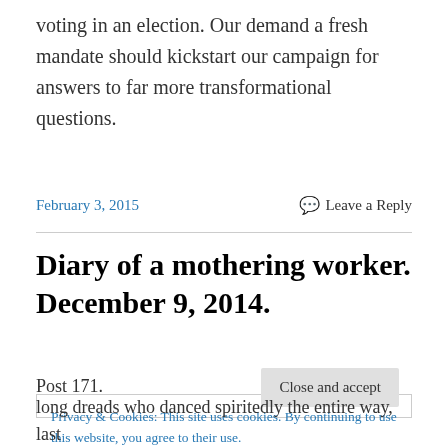voting in an election. Our demand a fresh mandate should kickstart our campaign for answers to far more transformational questions.
February 3, 2015
Leave a Reply
Diary of a mothering worker. December 9, 2014.
Post 171.
Privacy & Cookies: This site uses cookies. By continuing to use this website, you agree to their use.
To find out more, including how to control cookies, see here: Cookie Policy
Close and accept
long dreads who danced spiritedly the entire way, last